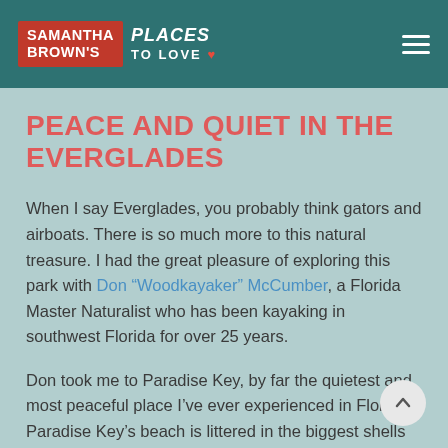SAMANTHA BROWN'S PLACES TO LOVE
PEACE AND QUIET IN THE EVERGLADES
When I say Everglades, you probably think gators and airboats. There is so much more to this natural treasure. I had the great pleasure of exploring this park with Don “Woodkayaker” McCumber, a Florida Master Naturalist who has been kayaking in southwest Florida for over 25 years.
Don took me to Paradise Key, by far the quietest and most peaceful place I’ve ever experienced in Florida. Paradise Key’s beach is littered in the biggest shells I’ve seen outside of a gift shop. You’ll find horse conchs, the Florida state shell, as big as your head! What’s more– you might find Calusa Indian ...